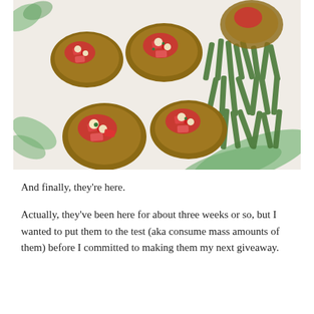[Figure (photo): Photo of bruschetta topped with diced tomatoes and onions on toasted bread rounds, with green beans on the side, served on a white plate with a green leaf design.]
And finally, they're here.
Actually, they've been here for about three weeks or so, but I wanted to put them to the test (aka consume mass amounts of them) before I committed to making them my next giveaway.